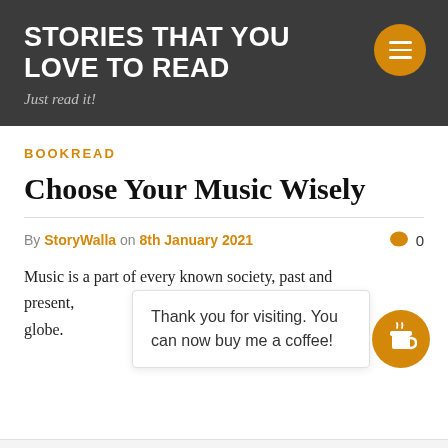STORIES THAT YOU LOVE TO READ
Just read it!
BOOKREAD
Choose Your Music Wisely
By StoryWalla on 8th January 2021   0
Music is a part of every known society, past and present, across the globe.
Thank you for visiting. You can now buy me a coffee!